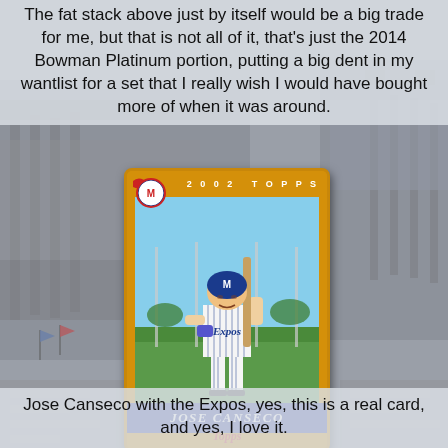The fat stack above just by itself would be a big trade for me, but that is not all of it, that's just the 2014 Bowman Platinum portion, putting a big dent in my wantlist for a set that I really wish I would have bought more of when it was around.
[Figure (photo): 2002 Topps baseball card of Jose Canseco wearing Montreal Expos pinstripe uniform, holding a bat in batting stance pose on a baseball field. Card has gold/orange border with blue name banner reading JOSE CANSECO and Topps logo at bottom. Montreal Expos logo with ribbon in top-left corner.]
Jose Canseco with the Expos, yes, this is a real card, and yes, I love it.